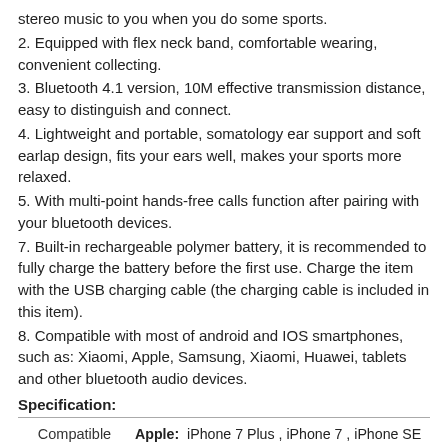stereo music to you when you do some sports.
2. Equipped with flex neck band, comfortable wearing, convenient collecting.
3. Bluetooth 4.1 version, 10M effective transmission distance, easy to distinguish and connect.
4. Lightweight and portable, somatology ear support and soft earlap design, fits your ears well, makes your sports more relaxed.
5. With multi-point hands-free calls function after pairing with your bluetooth devices.
7. Built-in rechargeable polymer battery, it is recommended to fully charge the battery before the first use. Charge the item with the USB charging cable (the charging cable is included in this item).
8. Compatible with most of android and IOS smartphones, such as: Xiaomi, Apple, Samsung, Xiaomi, Huawei, tablets and other bluetooth audio devices.
Specification:
| Compatible with | Devices |
| --- | --- |
| Compatible with | Apple: iPhone 7 Plus , iPhone 7 , iPhone SE , iPhone 6s Plus , iPhone 6s , iPhone 6 Plus , iPhone 6 , iPhone 5S , iPhone 5C , iPhone 5 Samsung: Galaxy Note 7 , Galaxy S7 active , Galaxy J3 Pro , Galaxy C7 , Galaxy C5 , Galaxy Tab A 10.1 (2016) , Galaxy J7 (2016) , Galaxy TabPro S , Galaxy S7 Edge , Galaxy Tab A 7.0 (2016) , Galaxy J5 (2016) , Galaxy A9 Pro (2016) , Galaxy S7 , Galaxy J1 |